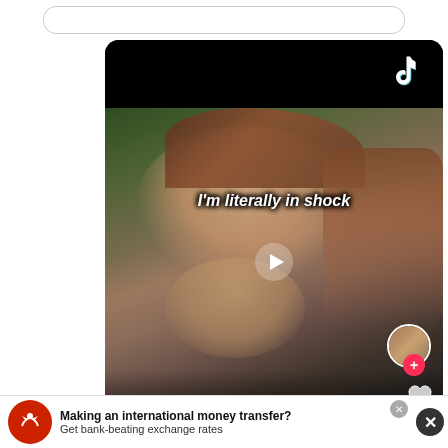[Figure (screenshot): TikTok video screenshot showing a person lying down with text overlay 'I'm literally in shock', TikTok logo in top right, play button in center, profile circle with plus button, and partial bottom controls showing 3K]
I'm literally in shock
Making an international money transfer? Get bank-beating exchange rates